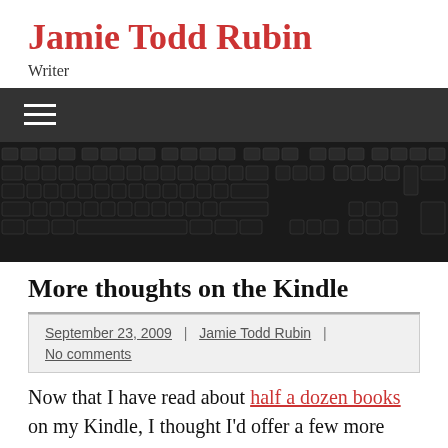Jamie Todd Rubin
Writer
[Figure (screenshot): Dark navigation bar with hamburger menu icon (three horizontal white lines)]
[Figure (photo): Close-up photo of a black computer keyboard]
More thoughts on the Kindle
September 23, 2009 | Jamie Todd Rubin | No comments
Now that I have read about half a dozen books on my Kindle, I thought I'd offer a few more thoughts on the device and the experience: